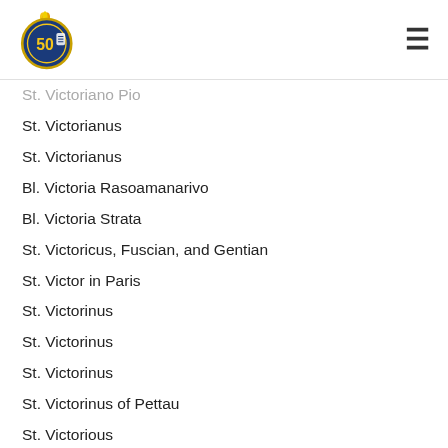50th Anniversary logo with hamburger menu
St. Victoriano Pio
St. Victorianus
St. Victorianus
Bl. Victoria Rasoamanarivo
Bl. Victoria Strata
St. Victoricus, Fuscian, and Gentian
St. Victor in Paris
St. Victorinus
St. Victorinus
St. Victorinus
St. Victorinus of Pettau
St. Victorious
St. Victor Maurus
St. Victor Maurus (aka Victor the Moor)...
St. Victor the Ninivite
St. Victor the Ninivite